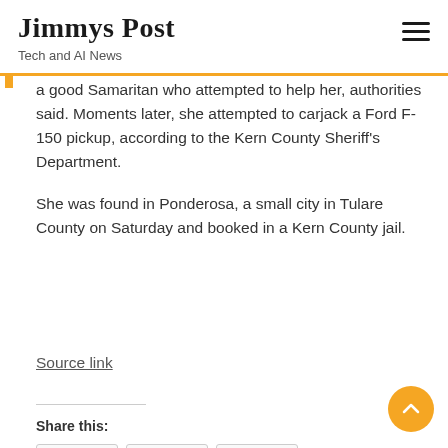Jimmys Post
Tech and AI News
a good Samaritan who attempted to help her, authorities said. Moments later, she attempted to carjack a Ford F-150 pickup, according to the Kern County Sheriff's Department.
She was found in Ponderosa, a small city in Tulare County on Saturday and booked in a Kern County jail.
Source link
Share this: